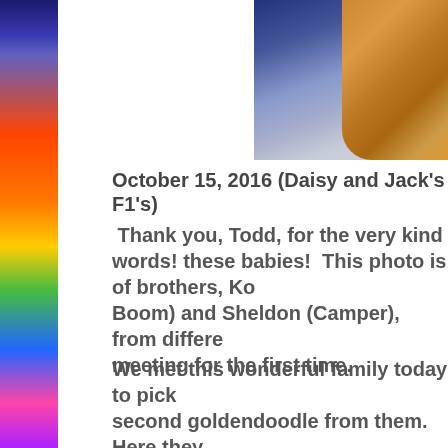[Figure (photo): Photo of a golden/brown puppy being held, alongside a navy blue Converse sneaker, on a grey knit sweater background.]
October 15, 2016 (Daisy and Jack's F1's)
Thank you, Todd, for the very kind words! We love these babies!  This photo is of brothers, Ko... Boom) and Sheldon (Camper), from differe... meeting for the first time.
We met this wonderful family today to pick... second goldendoodle from them. Here they... ground introducing camper to Kooper, wo...